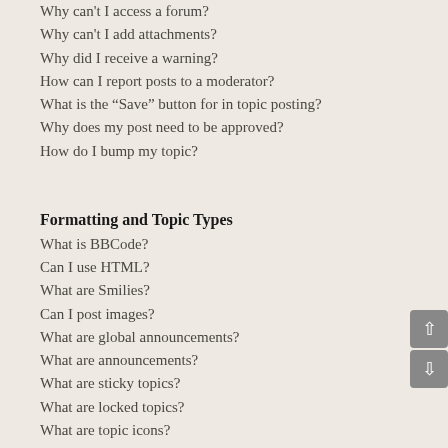Why can't I access a forum?
Why can't I add attachments?
Why did I receive a warning?
How can I report posts to a moderator?
What is the “Save” button for in topic posting?
Why does my post need to be approved?
How do I bump my topic?
Formatting and Topic Types
What is BBCode?
Can I use HTML?
What are Smilies?
Can I post images?
What are global announcements?
What are announcements?
What are sticky topics?
What are locked topics?
What are topic icons?
User Levels and Groups
What are Administrators?
What are Moderators?